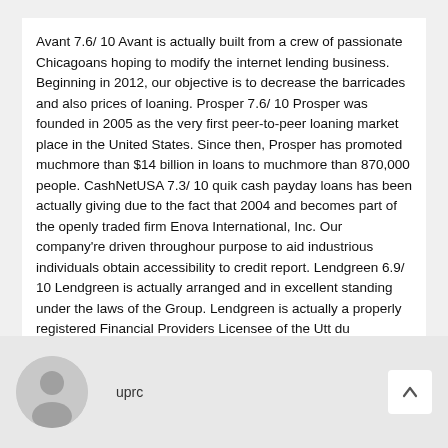Avant 7.6/ 10 Avant is actually built from a crew of passionate Chicagoans hoping to modify the internet lending business. Beginning in 2012, our objective is to decrease the barricades and also prices of loaning. Prosper 7.6/ 10 Prosper was founded in 2005 as the very first peer-to-peer loaning market place in the United States. Since then, Prosper has promoted muchmore than $14 billion in loans to muchmore than 870,000 people. CashNetUSA 7.3/ 10 quik cash payday loans has been actually giving due to the fact that 2004 and becomes part of the openly traded firm Enova International, Inc. Our company're driven throughour purpose to aid industrious individuals obtain accessibility to credit report. Lendgreen 6.9/ 10 Lendgreen is actually arranged and in excellent standing under the laws of the Group. Lendgreen is actually a properly registered Financial Providers Licensee of the Utt du Flambeau Tribal Financial Solutions Regulatory Authority, a private regulative physical body of the People.
uprc